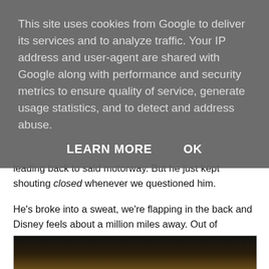This site uses cookies from Google to deliver its services and to analyze traffic. Your IP address and user-agent are shared with Google along with performance and security metrics to ensure quality of service, generate usage statistics, and to detect and address abuse.
LEARN MORE    OK
leading back to said motorway. But he just kept shouting closed whenever we questioned him.
He's broke into a sweat, we're flapping in the back and Disney feels about a million miles away. Out of nowhere, we're suddenly back on the motorway we randomly came off and going in the right direction. Hurrah. We stay on the motorway, we see signs for Disneyland, we are so close… and he turns off the motorway, goes around this massive ring road, and comes right back ON exactly where he came off.
[Figure (photo): A sepia-toned photo showing what appears to be a vehicle or transport interior with warm amber/golden lighting and dark surroundings, partially visible at the bottom of the page.]